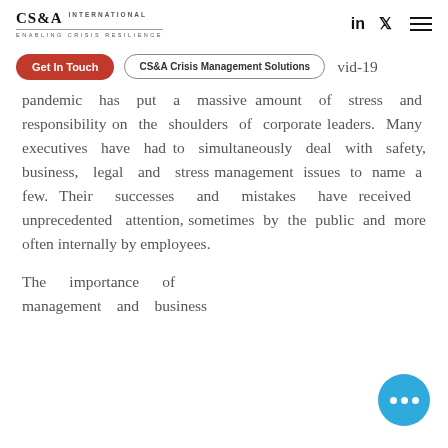CS&A International - Enabling Crisis Resilience
pandemic has put a massive amount of stress and responsibility on the shoulders of corporate leaders. Many executives have had to simultaneously deal with safety, business, legal and stress management issues to name a few. Their successes and mistakes have received unprecedented attention, sometimes by the public and more often internally by employees.
The importance of management and business